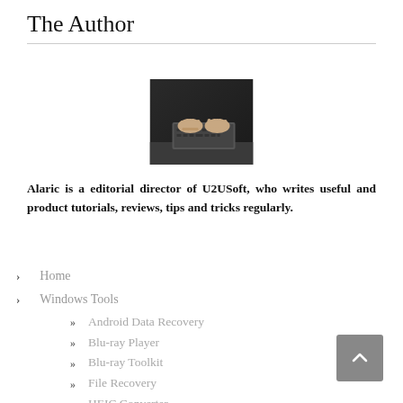The Author
[Figure (photo): Person typing on a laptop keyboard, dark moody background]
Alaric is a editorial director of U2USoft, who writes useful and product tutorials, reviews, tips and tricks regularly.
Home
Windows Tools
Android Data Recovery
Blu-ray Player
Blu-ray Toolkit
File Recovery
HEIC Converter
Video Converter Ultimate
Mac Tools